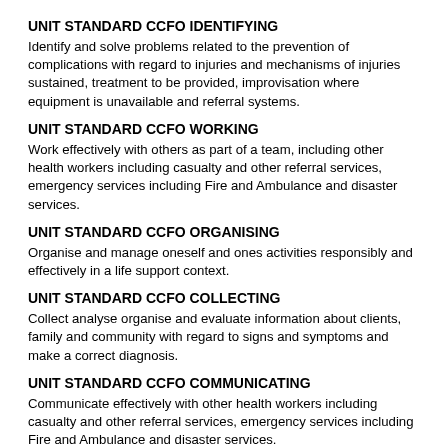UNIT STANDARD CCFO IDENTIFYING
Identify and solve problems related to the prevention of complications with regard to injuries and mechanisms of injuries sustained, treatment to be provided, improvisation where equipment is unavailable and referral systems.
UNIT STANDARD CCFO WORKING
Work effectively with others as part of a team, including other health workers including casualty and other referral services, emergency services including Fire and Ambulance and disaster services.
UNIT STANDARD CCFO ORGANISING
Organise and manage oneself and ones activities responsibly and effectively in a life support context.
UNIT STANDARD CCFO COLLECTING
Collect analyse organise and evaluate information about clients, family and community with regard to signs and symptoms and make a correct diagnosis.
UNIT STANDARD CCFO COMMUNICATING
Communicate effectively with other health workers including casualty and other referral services, emergency services including Fire and Ambulance and disaster services.
UNIT STANDARD CCFO SCIENCE
Use science and technology effectively with regard to information and